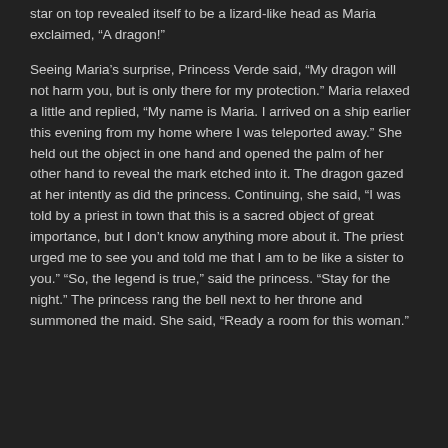star on top revealed itself to be a lizard-like head as Maria exclaimed, “A dragon!”
Seeing Maria’s surprise, Princess Verde said, “My dragon will not harm you, but is only there for my protection.” Maria relaxed a little and replied, “My name is Maria. I arrived on a ship earlier this evening from my home where I was teleported away.” She held out the object in one hand and opened the palm of her other hand to reveal the mark etched into it. The dragon gazed at her intently as did the princess. Continuing, she said, “I was told by a priest in town that this is a sacred object of great importance, but I don’t know anything more about it. The priest urged me to see you and told me that I am to be like a sister to you.” “So, the legend is true,” said the princess. “Stay for the night.” The princess rang the bell next to her throne and summoned the maid. She said, “Ready a room for this woman.”